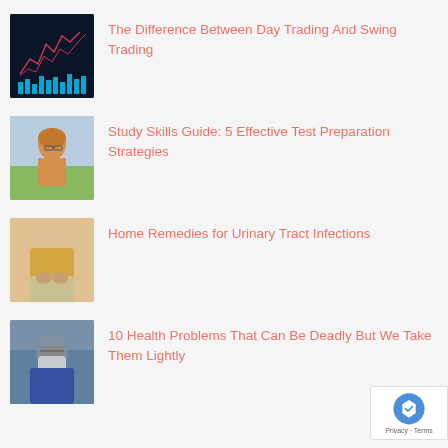[Figure (photo): Stock market chart with candlestick graph and blue bar charts on dark background]
The Difference Between Day Trading And Swing Trading
[Figure (photo): Young woman with glasses resting her chin on her hand, sitting outdoors with a book]
Study Skills Guide: 5 Effective Test Preparation Strategies
[Figure (photo): Person in yellow shirt holding their midsection, suggesting abdominal discomfort]
Home Remedies for Urinary Tract Infections
[Figure (photo): Man wearing a face mask, looking downward, outdoors]
10 Health Problems That Can Be Deadly But We Take Them Lightly